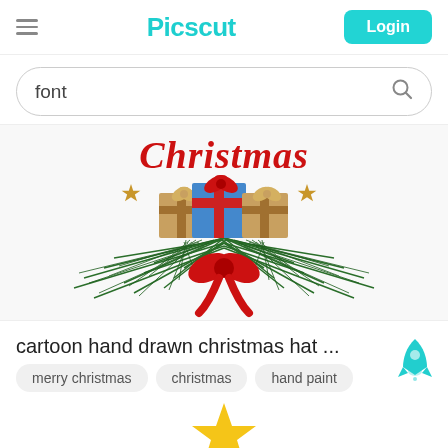Picscut | Login
font
[Figure (illustration): Christmas themed illustration with pine branches, gift boxes with red and blue ribbons, a red bow, gold stars, and red cursive text reading 'Christmas']
cartoon hand drawn christmas hat ...
merry christmas
christmas
hand paint
[Figure (illustration): Partial view of another Christmas illustration with a gold star visible at the bottom]
[Figure (logo): Teal rocket icon in the bottom right corner]